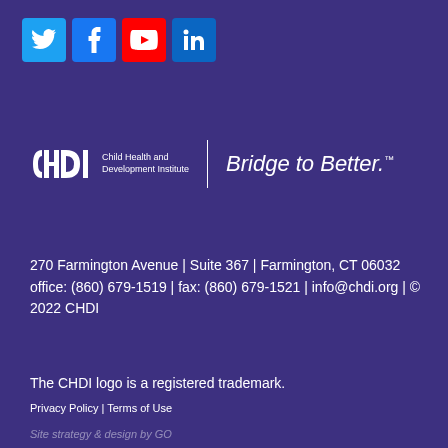[Figure (logo): Social media icons row: Twitter (blue bird), Facebook (blue f), YouTube (red play button), LinkedIn (blue in)]
[Figure (logo): CHDI Child Health and Development Institute logo with 'Bridge to Better.' tagline]
270 Farmington Avenue | Suite 367 | Farmington, CT 06032 office: (860) 679-1519 | fax: (860) 679-1521 | info@chdi.org | © 2022 CHDI
The CHDI logo is a registered trademark.
Privacy Policy | Terms of Use
Site strategy & design by GO